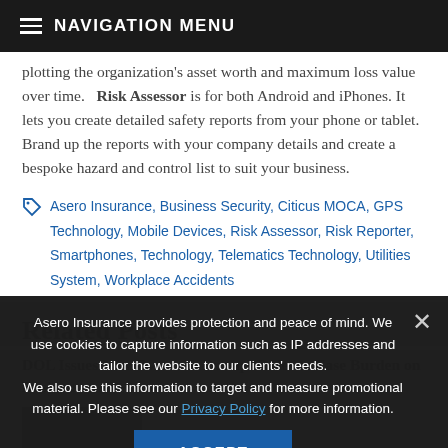NAVIGATION MENU
plotting the organization's asset worth and maximum loss value over time.   Risk Assessor is for both Android and iPhones. It lets you create detailed safety reports from your phone or tablet. Brand up the reports with your company details and create a bespoke hazard and control list to suit your business.
Asero Insurance, Business Security, Citicus MOCA, GPS Technology, Mobile Devices, Risk Assessor, Risk Reporter, Smartphones, Technology, Telematics Technology, Utilities System, Workplace Accidents
Related Posts
DOL Issues New Overtime Exempt Rules to Ease Burden on Businesses
Asero Insurance provides protection and peace of mind. We use cookies to capture information such as IP addresses and tailor the website to our clients' needs. We also use this information to target and measure promotional material. Please see our Privacy Policy for more information.
ACCEPT